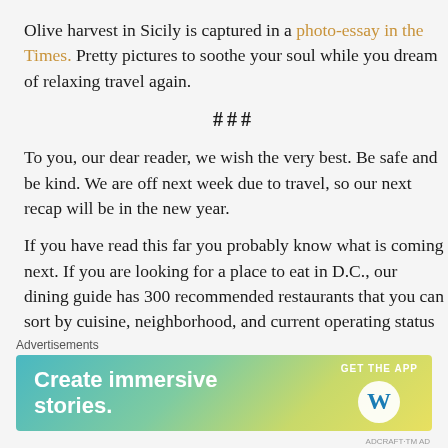Olive harvest in Sicily is captured in a photo-essay in the Times.  Pretty pictures to soothe your soul while you dream of relaxing travel again.
###
To you, our dear reader, we wish the very best.  Be safe and be kind.  We are off next week due to travel, so our next recap will be in the new year.
If you have read this far you probably know what is coming next.  If you are looking for a place to eat in D.C., our dining guide has 300 recommended restaurants that you can sort by cuisine, neighborhood, and current operating status (dine-in and/or take-out, etc.) in either
[Figure (screenshot): Advertisement banner: 'Create immersive stories. GET THE APP' with WordPress logo, gradient background from teal to yellow-green.]